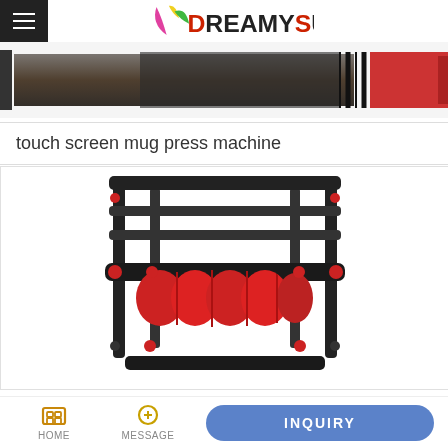DREAMYSUB
[Figure (photo): Banner strip showing close-up images of a mug press machine — dark machine body with red element on the right]
touch screen mug press machine
[Figure (photo): Product photo: a black metal frame mug press machine with red foam roller/heating element in the center]
HOME  MESSAGE  INQUIRY